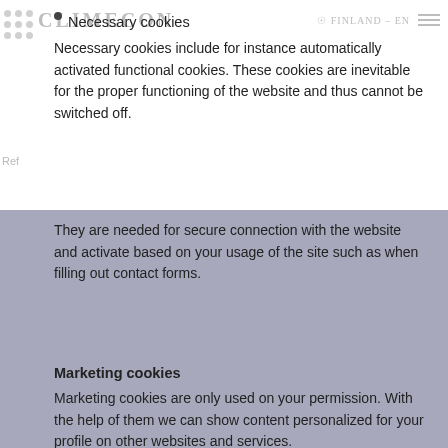CLIMECON  FINLAND - EN
Necessary cookies
Necessary cookies include for instance automatically activated functional cookies. These cookies are inevitable for the proper functioning of the website and thus cannot be switched off.
They are needed for secure connection with the website and activate based on your usage of the site such as when filling out contact forms.
Marketing cookies
Marketing cookies are only used on your permission. With the help of them we can show content personalized for your profile on other websites and services.
Cookies can also be used to target you with content we think might interest you on social media.